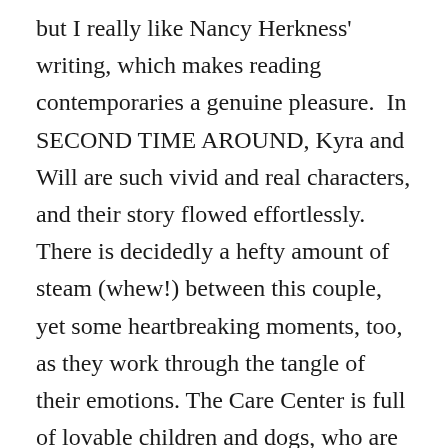but I really like Nancy Herkness' writing, which makes reading contemporaries a genuine pleasure.  In SECOND TIME AROUND, Kyra and Will are such vivid and real characters, and their story flowed effortlessly.  There is decidedly a hefty amount of steam (whew!) between this couple, yet some heartbreaking moments, too, as they work through the tangle of their emotions. The Care Center is full of lovable children and dogs, who are also guaranteed to tug at your heartstrings.  I totally enjoyed and recommend SECOND TIME AROUND for fans of second chance romances, be they historical or contemporary.    ~Rose